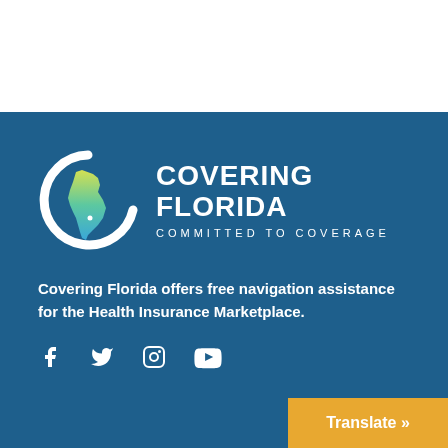[Figure (logo): Covering Florida logo with a stylized white letter C enclosing a gradient map of Florida in yellow-green-blue, followed by text COVERING FLORIDA and COMMITTED TO COVERAGE]
Covering Florida offers free navigation assistance for the Health Insurance Marketplace.
[Figure (other): Social media icons: Facebook, Twitter, Instagram, YouTube — all white on dark blue background]
Translate »